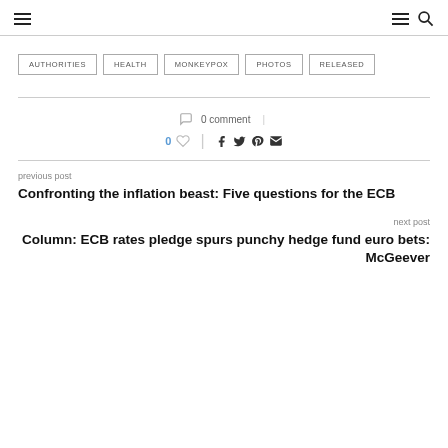Navigation bar with hamburger menu and search icons
AUTHORITIES
HEALTH
MONKEYPOX
PHOTOS
RELEASED
0 comment
0 likes, social share icons (Facebook, Twitter, Pinterest, Email)
previous post
Confronting the inflation beast: Five questions for the ECB
next post
Column: ECB rates pledge spurs punchy hedge fund euro bets: McGeever